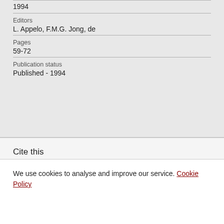1994
Editors
L. Appelo, F.M.G. Jong, de
Pages
59-72
Publication status
Published - 1994
Cite this
APA  Author  BIBTEX  Harvard  ...
We use cookies to analyse and improve our service. Cookie Policy